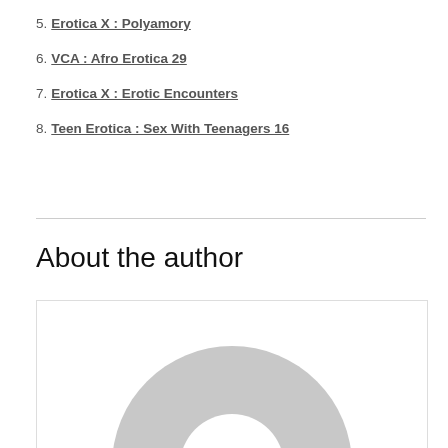5. Erotica X : Polyamory
6. VCA : Afro Erotica 29
7. Erotica X : Erotic Encounters
8. Teen Erotica : Sex With Teenagers 16
About the author
[Figure (illustration): Generic user avatar placeholder image — a grey donut/ring shape representing a person silhouette on a white background with a light border.]